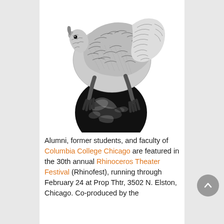[Figure (illustration): Black and white ink illustration of a rhinoceros-like creature balancing on top of a dark globe/earth, viewed from behind/above. The creature has scaly texture and is rendered in detailed crosshatch style.]
Alumni, former students, and faculty of Columbia College Chicago are featured in the 30th annual Rhinoceros Theater Festival (Rhinofest), running through February 24 at Prop Thtr, 3502 N. Elston, Chicago. Co-produced by the